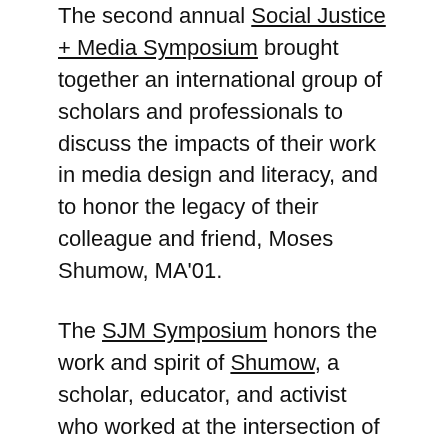The second annual Social Justice + Media Symposium brought together an international group of scholars and professionals to discuss the impacts of their work in media design and literacy, and to honor the legacy of their colleague and friend, Moses Shumow, MA'01.
The SJM Symposium honors the work and spirit of Shumow, a scholar, educator, and activist who worked at the intersection of media, narrative, and social justice. He returned to Emerson, his alma mater, in Fall 2019 to teach digital design, but died that October as the result of an accident.
The Journalism assistant professor left a mark on the hearts and minds of students, faculty, and